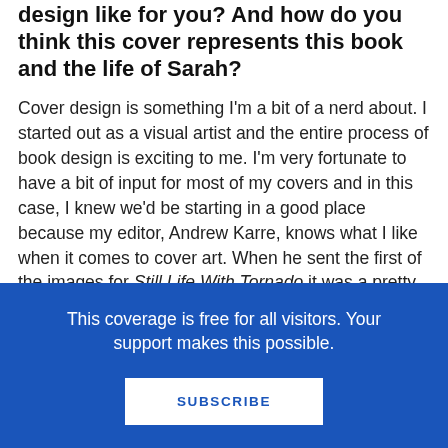design like for you? And how do you think this cover represents this book and the life of Sarah?
Cover design is something I’m a bit of a nerd about. I started out as a visual artist and the entire process of book design is exciting to me. I’m very fortunate to have a bit of input for most of my covers and in this case, I knew we’d be starting in a good place because my editor, Andrew Karre, knows what I like when it comes to cover art. When he sent the first of the images for Still Life With Tornado it was a pretty powerful WOW moment.
I love this cover so much. I think it fits the book so well. Look at that messy funnel scribble of life! I’m thrilled that you can see this on something and
This coverage is free for all visitors. Your support makes this possible.
SUBSCRIBE